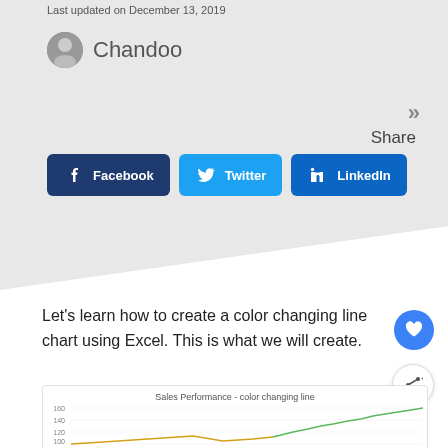Last updated on December 13, 2019
Chandoo
Share
Facebook
Twitter
LinkedIn
Let's learn how to create a color changing line chart using Excel. This is what we will create.
[Figure (line-chart): Partial line chart showing color-changing sales performance line, y-axis from 90 to 160, line starts low around 90 and rises to about 150, transitioning from yellow/orange to green color.]